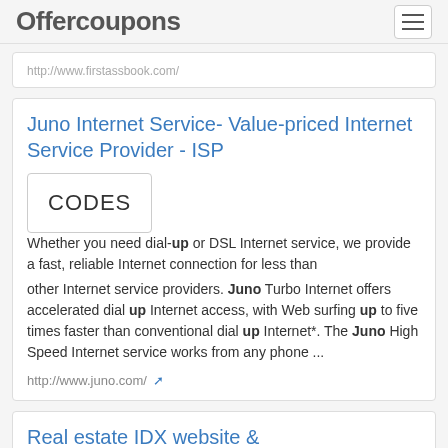Offercoupons
http://www.firstassbook.com/
Juno Internet Service- Value-priced Internet Service Provider - ISP
Whether you need dial-up or DSL Internet service, we provide a fast, reliable Internet connection for less than other Internet service providers. Juno Turbo Internet offers accelerated dial up Internet access, with Web surfing up to five times faster than conventional dial up Internet*. The Juno High Speed Internet service works from any phone ...
http://www.juno.com/
Real estate IDX website &